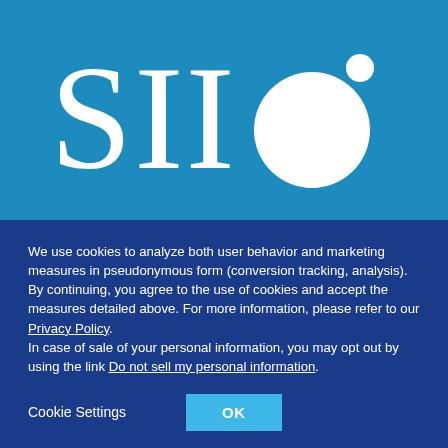[Figure (logo): SII logo — white serif letters 'SII' and a large white circle with a small white dot (bullet) in the upper right, on a blue background]
We use cookies to analyze both user behavior and marketing measures in pseudonymous form (conversion tracking, analysis). By continuing, you agree to the use of cookies and accept the measures detailed above. For more information, please refer to our Privacy Policy. In case of sale of your personal information, you may opt out by using the link Do not sell my personal information.
Cookie Settings
OK